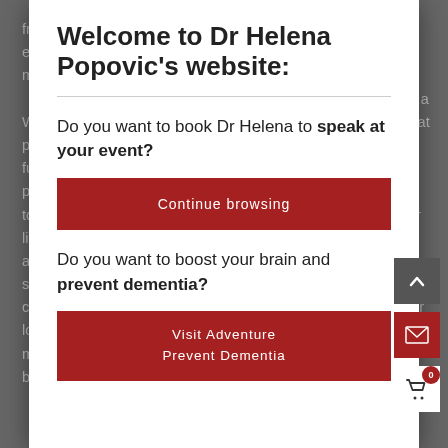from one activ… ces our efficiency and … hights and mistakes. When we're n… orking in a poorly lit roo… y skilled at fumbling arou… n our potential. On … attention to what we're … on the lights and see… ch easier and our perfo… e learn something in … gs are competing for … r for very long. If we're t… member for much longer b… in th… brain.
Welcome to Dr Helena Popovic's website:
Do you want to book Dr Helena to speak at your event?
Continue browsing
Do you want to boost your brain and prevent dementia?
Visit Adventure Prevent Dementia